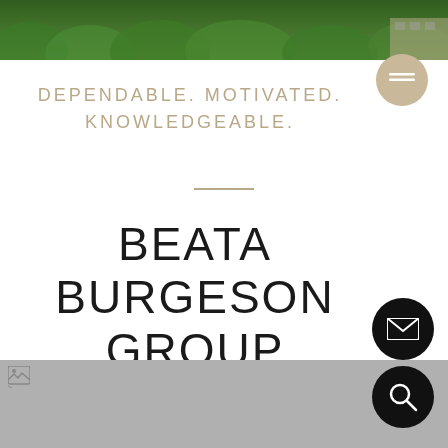[Figure (photo): Aerial view of green tree canopy with a structure visible at the right edge, used as a header banner image]
[Figure (other): Beige/tan circular menu button with two horizontal lines (hamburger icon) in white]
DEPENDABLE. MOTIVATED. KNOWLEDGEABLE.
[Figure (other): Thin horizontal tan/gold divider line]
BEATA BURGESON GROUP
[Figure (other): Black circular button with white envelope/email icon]
[Figure (other): Black circular button with white telephone/phone icon]
[Figure (photo): Gray placeholder image area at the bottom of the page (broken image or loading state)]
[Figure (other): Black circular button with white magnifying glass/search icon]